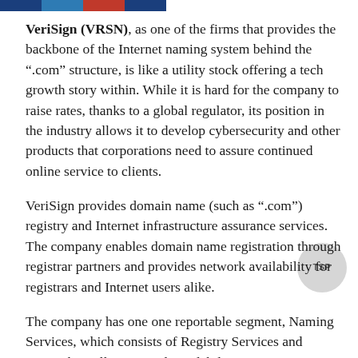[Figure (other): Colored header bar with four colored segments: dark blue, medium blue, red, dark blue]
VeriSign (VRSN), as one of the firms that provides the backbone of the Internet naming system behind the “.com” structure, is like a utility stock offering a tech growth story within. While it is hard for the company to raise rates, thanks to a global regulator, its position in the industry allows it to develop cybersecurity and other products that corporations need to assure continued online service to clients.
VeriSign provides domain name (such as “.com”) registry and Internet infrastructure assurance services. The company enables domain name registration through registrar partners and provides network availability for registrars and Internet users alike.
The company has one one reportable segment, Naming Services, which consists of Registry Services and Network Intelligence and Availability Services. VeriSign has operations inside as well as outside the United States.
Registry Services operates the authoritative directory of all .com